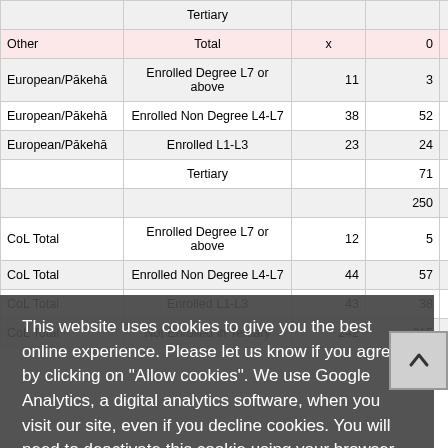|  |  |  |  |  |
| --- | --- | --- | --- | --- |
|  | Tertiary |  |  |  |
| Other | Total | x | 0 | 0 |
| European/Pākehā | Enrolled Degree L7 or above | 11 | 3 | 9 |
| European/Pākehā | Enrolled Non Degree L4-L7 | 38 | 52 | 39 |
| European/Pākehā | Enrolled L1-L3 | 23 | 24 | 30 |
|  | Tertiary | 71 |  | 183 |
|  |  | 250 |  | 261 |
| CoL Total | Enrolled Degree L7 or above | 12 | 5 | 9 |
| CoL Total | Enrolled Non Degree L4-L7 | 44 | 57 | 43 |
| CoL Total | Enrolled L1-L3 | 43 | 38 |  |
| CoL Total | Not Enrolled in Tertiary | 242 | 215 | 217 |
This website uses cookies to give you the best online experience. Please let us know if you agree by clicking on "Allow cookies". We use Google Analytics, a digital analytics software, when you visit our site, even if you decline cookies. You will need to deactivate this cookie using your browser. About cookies